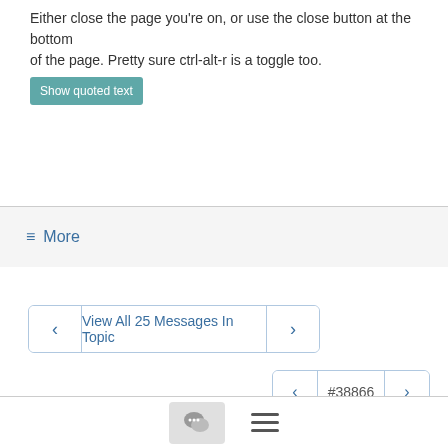Either close the page you're on, or use the close button at the bottom of the page. Pretty sure ctrl-alt-r is a toggle too.
Show quoted text
≡ More
View All 25 Messages In Topic
#38866
Join nvda@nvda.groups.io to automatically receive all group messages.